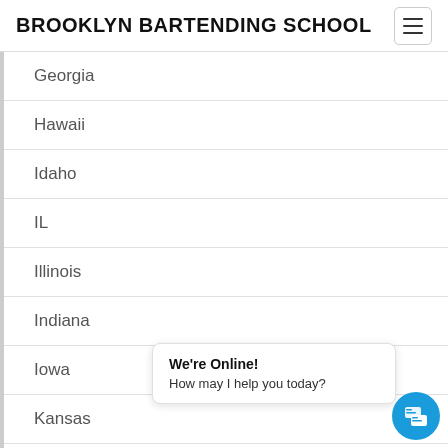BROOKLYN BARTENDING SCHOOL
Georgia
Hawaii
Idaho
IL
Illinois
Indiana
Iowa
Kansas
Kentucky
Louisiana
We're Online! How may I help you today?